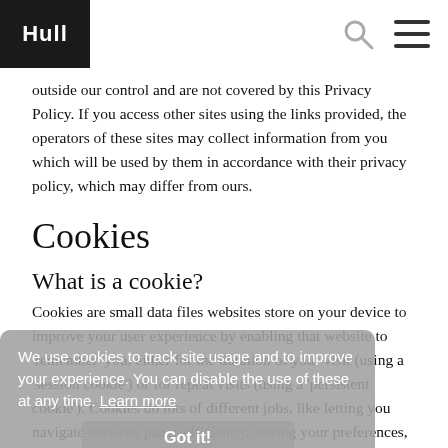Hull
outside our control and are not covered by this Privacy Policy. If you access other sites using the links provided, the operators of these sites may collect information from you which will be used by them in accordance with their privacy policy, which may differ from ours.
Cookies
What is a cookie?
Cookies are small data files websites store on your device to improve your user experience by enabling that website to 'remember' you, either for the duration of your visit (using a 'session cookie') or for repeat visits (using a 'persistent cookie'). Cookies do lots of different jobs, like letting you navigate between pages efficiently, storing your preferences, and generally improving your experience of a website.
We use cookies to track site usage and to improve your experience. You can disable the use of these at any time. Learn more
Got it!